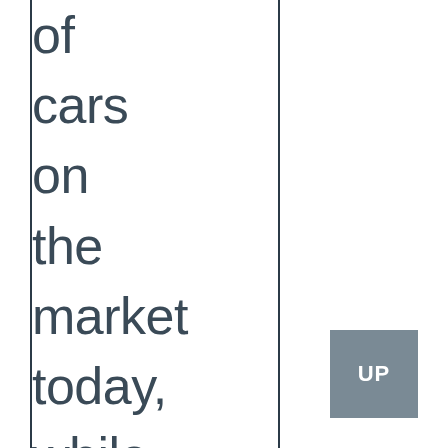of cars on the market today, while any mid-range sedan could perhaps not claim
[Figure (other): A grey square button with the text 'UP' in white bold letters, positioned in the bottom-right area of the page.]